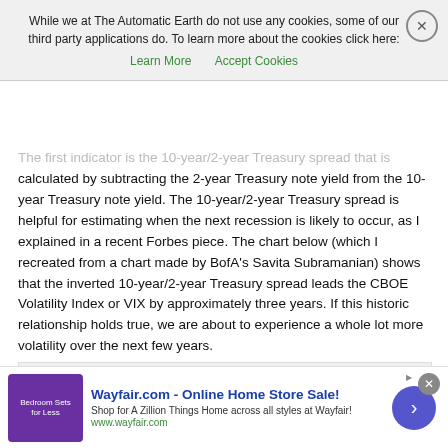While we at The Automatic Earth do not use any cookies, some of our third party applications do. To learn more about the cookies click here:
Learn More   Accept Cookies
The first indicator is the 10-year/2-year Treasury spread that is calculated by subtracting the 2-year Treasury note yield from the 10-year Treasury note yield. The 10-year/2-year Treasury spread is helpful for estimating when the next recession is likely to occur, as I explained in a recent Forbes piece. The chart below (which I recreated from a chart made by BofA's Savita Subramanian) shows that the inverted 10-year/2-year Treasury spread leads the CBOE Volatility Index or VIX by approximately three years. If this historic relationship holds true, we are about to experience a whole lot more volatility over the next few years.
[Figure (line-chart): Line chart showing the U.S. Treasury yield curve as a leading indicator for volatility (VIX), with orange and blue lines showing historical spikes, and annotation 'volatility surge ahead?' with a question mark on the right side.]
Wayfair.com - Online Home Store Sale! Shop for A Zillion Things Home across all styles at Wayfair! www.wayfair.com